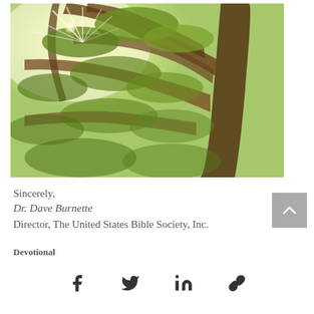[Figure (photo): Upward-looking photograph through tree branches and green leaves with bright sunburst in the upper left area, against a pale sky.]
Sincerely,
Dr. Dave Burnette
Director, The United States Bible Society, Inc.
Devotional